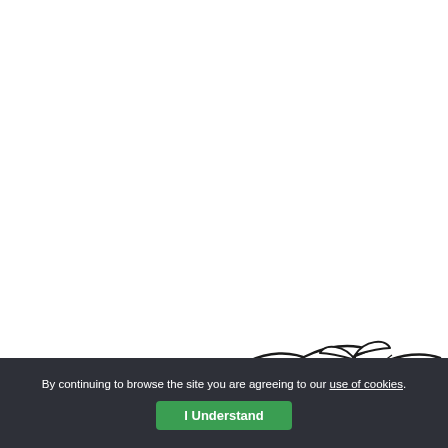[Figure (illustration): Line drawing illustration of leaves/foliage in black and white, partially visible at the bottom of the page, cropped at the edges]
By continuing to browse the site you are agreeing to our use of cookies.
I Understand